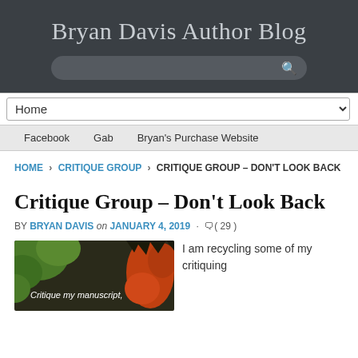Bryan Davis Author Blog
[Figure (screenshot): Search bar in dark header]
[Figure (screenshot): Home navigation dropdown selector]
Facebook   Gab   Bryan's Purchase Website
HOME › CRITIQUE GROUP › CRITIQUE GROUP – DON'T LOOK BACK
Critique Group – Don't Look Back
BY BRYAN DAVIS on JANUARY 4, 2019 · ( 29 )
[Figure (illustration): Illustration with text 'Critique my manuscript,' on dark green and orange background]
I am recycling some of my critiquing